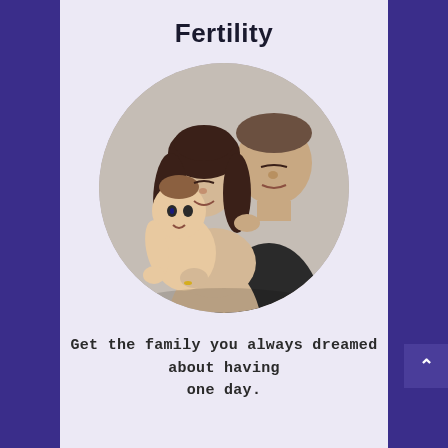Fertility
[Figure (photo): Circular photo of a couple holding a baby. A woman with long curly dark hair and a man in a dark shirt lean together looking at a baby they are holding. The baby looks forward. Warm, neutral studio background.]
Get the family you always dreamed about having one day.